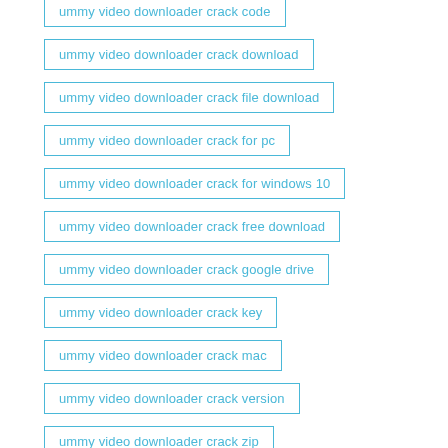ummy video downloader crack code
ummy video downloader crack download
ummy video downloader crack file download
ummy video downloader crack for pc
ummy video downloader crack for windows 10
ummy video downloader crack free download
ummy video downloader crack google drive
ummy video downloader crack key
ummy video downloader crack mac
ummy video downloader crack version
ummy video downloader crack zip
ummy video downloader crack zip file download
ummy video downloader cracked
ummy video downloader for android